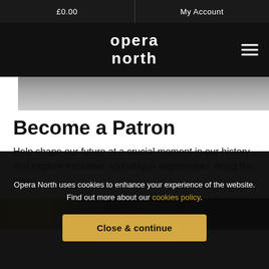£0.00   My Account
[Figure (logo): Opera North logo in white text on black background with hamburger menu icon]
[Figure (photo): Blurred grey/metallic hero image strip]
Become a Patron
Help shape our future at a crucial moment in our history, and explore exclusive and unique experiences along the way
[Figure (photo): Partial image strip showing yellow/gold and dark tones]
Opera North uses cookies to enhance your experience of the website. Find out more about our cookies policy.
Close & continue